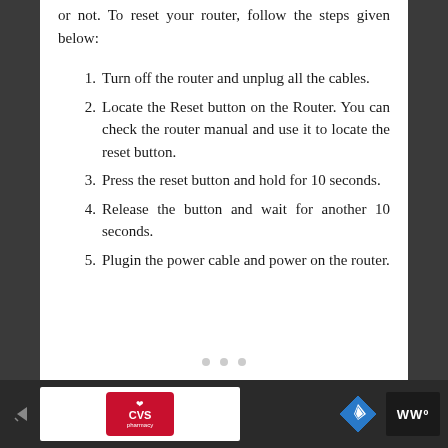or not. To reset your router, follow the steps given below:
Turn off the router and unplug all the cables.
Locate the Reset button on the Router. You can check the router manual and use it to locate the reset button.
Press the reset button and hold for 10 seconds.
Release the button and wait for another 10 seconds.
Plugin the power cable and power on the router.